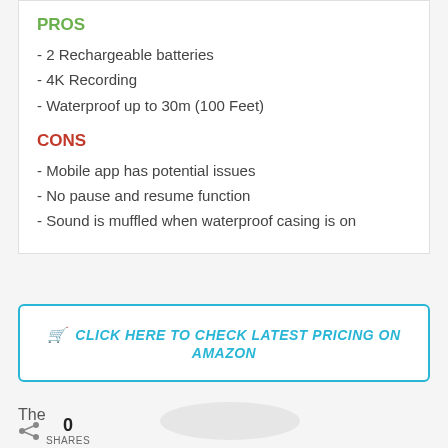PROS
- 2 Rechargeable batteries
- 4K Recording
- Waterproof up to 30m (100 Feet)
CONS
- Mobile app has potential issues
- No pause and resume function
- Sound is muffled when waterproof casing is on
CLICK HERE TO CHECK LATEST PRICING ON AMAZON
The
0 SHARES